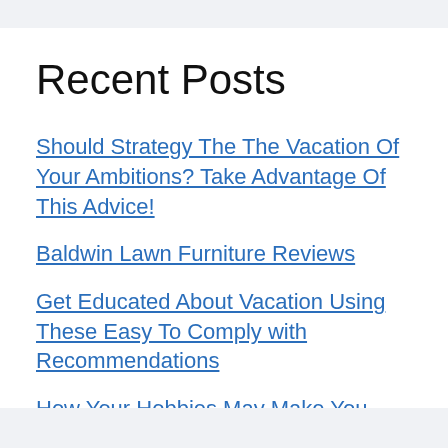Recent Posts
Should Strategy The The Vacation Of Your Ambitions? Take Advantage Of This Advice!
Baldwin Lawn Furniture Reviews
Get Educated About Vacation Using These Easy To Comply with Recommendations
How Your Hobbies May Make You Rich Online
Choosing The Oil Painting Course – It Needn't Be A Lottery